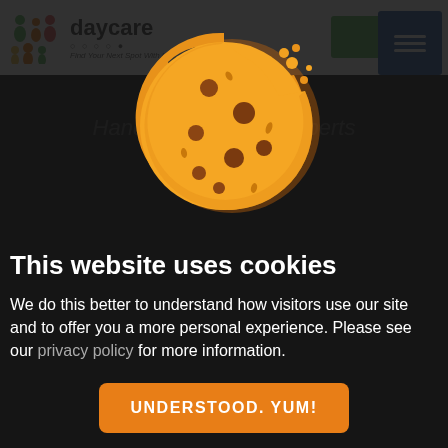[Figure (screenshot): Daycare website header with logo, navigation buttons in green and blue, partially visible behind cookie consent overlay]
[Figure (illustration): Cookie with a bite taken out of it, orange/brown color with chocolate chip spots, cookie crumbs floating near the bitten area]
This website uses cookies
We do this better to understand how visitors use our site and to offer you a more personal experience. Please see our privacy policy for more information.
UNDERSTOOD. YUM!